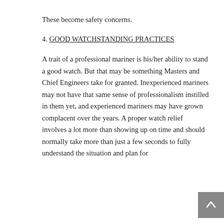These become safety concerns.
4. GOOD WATCHSTANDING PRACTICES
A trait of a professional mariner is his/her ability to stand a good watch. But that may be something Masters and Chief Engineers take for granted. Inexperienced mariners may not have that same sense of professionalism instilled in them yet, and experienced mariners may have grown complacent over the years. A proper watch relief involves a lot more than showing up on time and should normally take more than just a few seconds to fully understand the situation and plan for